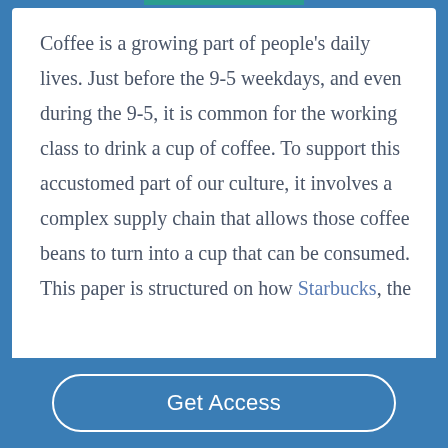Coffee is a growing part of people's daily lives. Just before the 9-5 weekdays, and even during the 9-5, it is common for the working class to drink a cup of coffee. To support this accustomed part of our culture, it involves a complex supply chain that allows those coffee beans to turn into a cup that can be consumed. This paper is structured on how Starbucks, the
Get Access